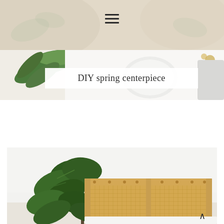[Figure (photo): Partial top photo strip showing a table setting with green fern leaves on the left, white plates in the center-right, against a white background]
DIY spring centerpiece
[Figure (photo): Large photo of a bedroom scene with a wooden rattan cane headboard, a large fiddle leaf fig plant on the left, white bedding visible at the bottom, against a white wall]